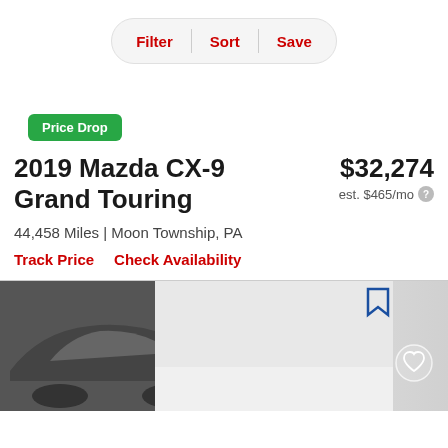Filter | Sort | Save
Price Drop
2019 Mazda CX-9 Grand Touring
$32,274
est. $465/mo
44,458 Miles | Moon Township, PA
Track Price   Check Availability
[Figure (photo): Partial view of a dark gray 2019 Mazda CX-9 Grand Touring SUV, rear quarter angle, with car image section and heart/bookmark icons visible]